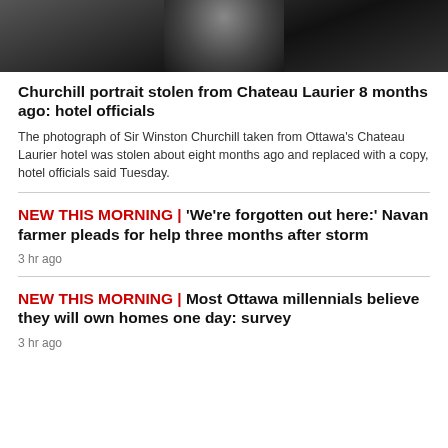[Figure (photo): Black and white photograph of a person in formal attire, cropped to show upper body, dark background]
Churchill portrait stolen from Chateau Laurier 8 months ago: hotel officials
The photograph of Sir Winston Churchill taken from Ottawa's Chateau Laurier hotel was stolen about eight months ago and replaced with a copy, hotel officials said Tuesday.
NEW THIS MORNING | 'We're forgotten out here:' Navan farmer pleads for help three months after storm
3 hr ago
NEW THIS MORNING | Most Ottawa millennials believe they will own homes one day: survey
3 hr ago